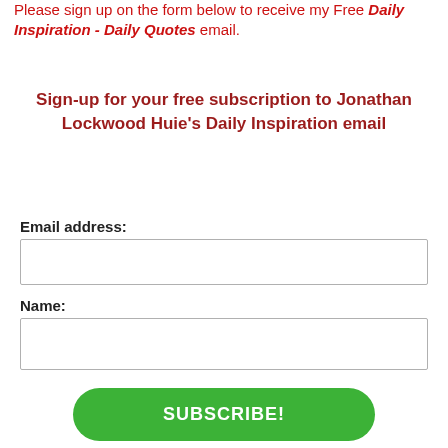Please sign up on the form below to receive my Free Daily Inspiration - Daily Quotes email.
Sign-up for your free subscription to Jonathan Lockwood Huie's Daily Inspiration email
Email address:
Name:
SUBSCRIBE!